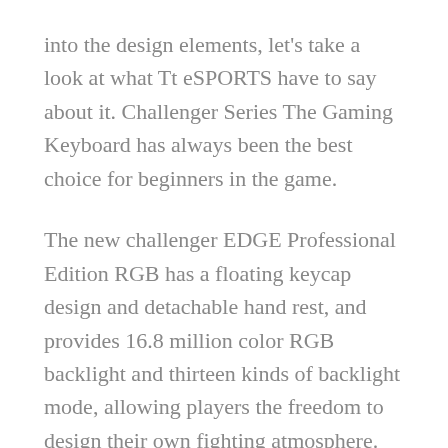into the design elements, let's take a look at what Tt eSPORTS have to say about it. Challenger Series The Gaming Keyboard has always been the best choice for beginners in the game.
The new challenger EDGE Professional Edition RGB has a floating keycap design and detachable hand rest, and provides 16.8 million color RGB backlight and thirteen kinds of backlight mode, allowing players the freedom to design their own fighting atmosphere.
In addition, the keyboard also has built-in FPS1, FPS2, MMO, MOBA, RTS and the default...